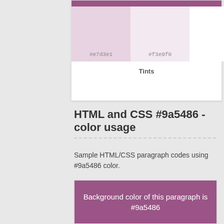[Figure (other): Color swatch card showing tints of #9a5486 — two lighter tint swatches labeled #e7d3e1 and #f3e9f0, with a 'Tints' label below]
HTML and CSS #9a5486 - color usage
Sample HTML/CSS paragraph codes using #9a5486 color.
[Figure (screenshot): Demo box with purple #9a5486 background showing text 'Background color of this paragraph is #9a5486' in white, with code snippet below: <p style="background-color: #9a5486">Background color of this paragraph is...</p>]
[Figure (screenshot): Demo box showing text 'Text color of this paragraph is #9a5486' in #9a5486 color, with code snippet: <p style="color: #9a5486">Text color of this paragraph is...</p>]